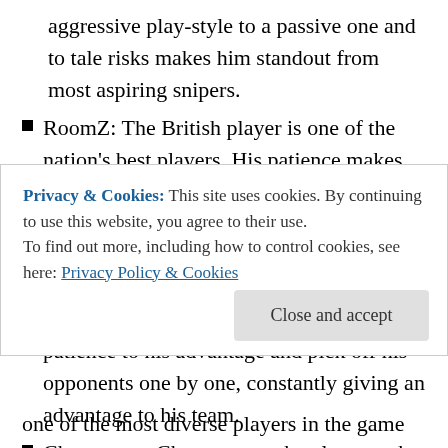aggressive play-style to a passive one and to tale risks makes him standout from most aspiring snipers.
RoomZ: The British player is one of the nation’s best players. His patience makes him an incredible lurker. He is able to mess with his opponents’ head especially into making them rotating to allow his team to have an easier time committing to a different site. He is also able to use his patience to his advantage and pick off his opponents one by one, constantly giving an advantage to his team.
Cheeseman: Cheeseman, who also goes by the name one of the most diverse players in the game being able
Privacy & Cookies: This site uses cookies. By continuing to use this website, you agree to their use. To find out more, including how to control cookies, see here: Privacy Policy & Cookies